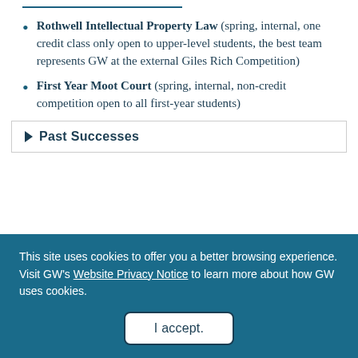Rothwell Intellectual Property Law (spring, internal, one credit class only open to upper-level students, the best team represents GW at the external Giles Rich Competition)
First Year Moot Court (spring, internal, non-credit competition open to all first-year students)
Past Successes
This site uses cookies to offer you a better browsing experience. Visit GW's Website Privacy Notice to learn more about how GW uses cookies.
I accept.